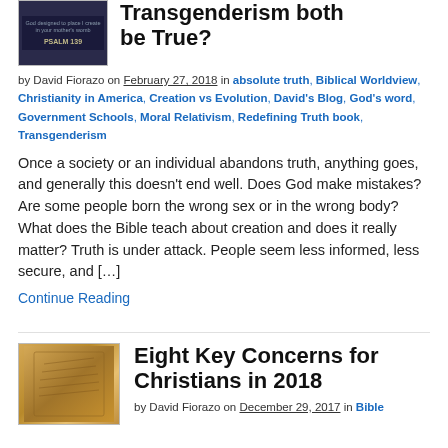[Figure (photo): Book cover thumbnail with dark blue/black background, Psalm 139 text visible]
Transgenderism both be True?
by David Fiorazo on February 27, 2018 in absolute truth, Biblical Worldview, Christianity in America, Creation vs Evolution, David's Blog, God's word, Government Schools, Moral Relativism, Redefining Truth book, Transgenderism
Once a society or an individual abandons truth, anything goes, and generally this doesn't end well. Does God make mistakes? Are some people born the wrong sex or in the wrong body? What does the Bible teach about creation and does it really matter? Truth is under attack. People seem less informed, less secure, and […]
Continue Reading
[Figure (photo): Image of an open Bible with golden/yellow pages]
Eight Key Concerns for Christians in 2018
by David Fiorazo on December 29, 2017 in Bible